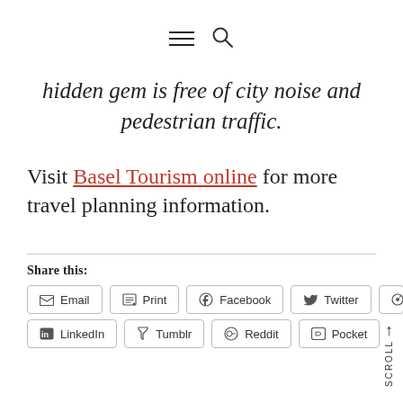[hamburger menu icon] [search icon]
hidden gem is free of city noise and pedestrian traffic.
Visit Basel Tourism online for more travel planning information.
Share this:
Email | Print | Facebook | Twitter | Pinte... | LinkedIn | Tumblr | Reddit | Pocket